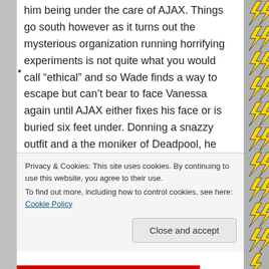him being under the care of AJAX. Things go south however as it turns out the mysterious organization running horrifying experiments is not quite what you would call “ethical” and so Wade finds a way to escape but can’t bear to face Vanessa again until AJAX either fixes his face or is buried six feet under. Donning a snazzy outfit and a the moniker of Deadpool, he proceeds to cut his way through AJAX’s known associates which leads back to the boss and neatly lands us back at the beginning of the movie. Speaking of which, the commotion on the freeway doesn’t go
Privacy & Cookies: This site uses cookies. By continuing to use this website, you agree to their use.
To find out more, including how to control cookies, see here: Cookie Policy
Close and accept